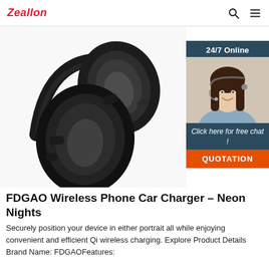Zeallon
[Figure (photo): Black over-ear headphones shown from above, displaying two ear cups with oval cushions and a headband, on white background. Overlay widget shows '24/7 Online' banner with a female customer service agent wearing a headset, 'Click here for free chat!' text, and an orange QUOTATION button.]
FDGAO Wireless Phone Car Charger – Neon Nights
Securely position your device in either portrait all while enjoying convenient and efficient Qi wireless charging. Explore Product Details Brand Name: FDGAOFeatures: